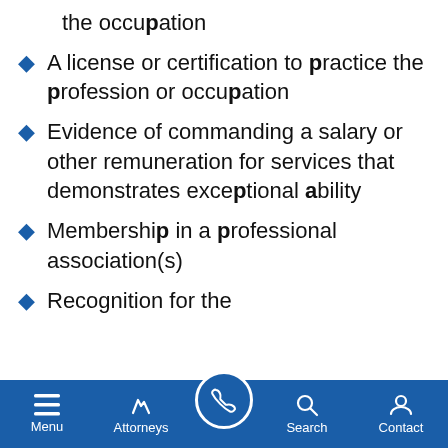the occupation
A license or certification to practice the profession or occupation
Evidence of commanding a salary or other remuneration for services that demonstrates exceptional ability
Membership in a professional association(s)
Recognition for the
Menu  Attorneys  Search  Contact